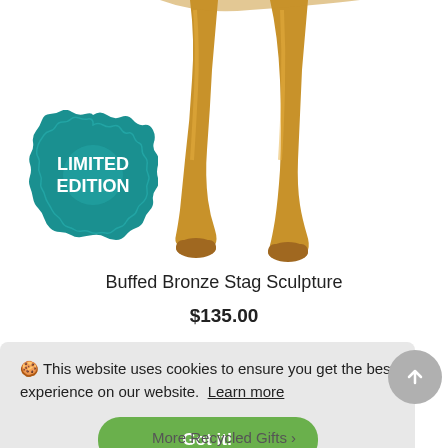[Figure (photo): Partial view of a buffed bronze stag sculpture showing golden-toned legs and hooves against a white background, with a teal 'LIMITED EDITION' badge overlaid on the lower left.]
Buffed Bronze Stag Sculpture
$135.00
🍪 This website uses cookies to ensure you get the best experience on our website.  Learn more
Got it!
More Recycled Gifts ›